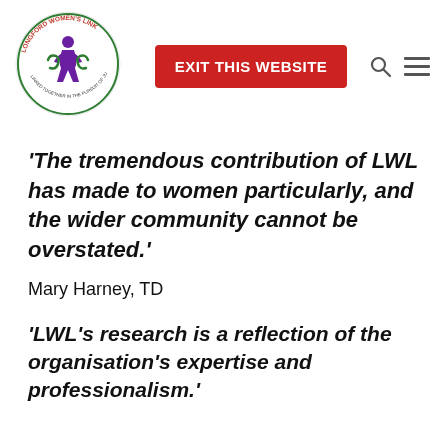[Figure (logo): Longford Women's Link circular logo with green leaf border, purple female figure in centre, red text around the ring reading 'LONGFORD WOMEN'S LINK', smaller text at bottom of ring]
[Figure (other): Red button labelled EXIT THIS WEBSITE in white bold text]
[Figure (other): Search icon (magnifying glass) and hamburger menu icon]
'The tremendous contribution of LWL has made to women particularly, and the wider community cannot be overstated.'
Mary Harney, TD
'LWL's research is a reflection of the organisation's expertise and professionalism.'